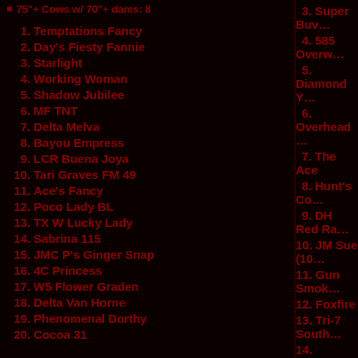75"+ Cows w/ 70"+ dams: 8
1. Temptations Fancy
2. Day's Fiesty Fannie
3. Starlight
4. Working Woman
5. Shadow Jubilee
6. MF TNT
7. Delta Melva
8. Bayou Empress
9. LCR Buena Joya
10. Tari Graves FM 49
11. Ace's Fancy
12. Poco Lady BL
13. TX W Lucky Lady
14. Sabrina 115
15. JMC P's Ginger Snap
16. 4C Princess
17. W5 Flower Graden
18. Delta Van Horne
19. Phenomenal Dorthy
20. Cocoa 31
3. Super Bow...
4. 585 Overw...
5. Diamond Y...
6. Overhead ...
7. The Ace
8. Hunt's Co...
9. DH Red Ra...
10. JM Sue (10...
11. Gun Smok...
12. Foxfire
13. Tri-7 South...
14. Habanero
15. Maximus S...
16. PCC Comn...
17. Winchester...
18. Capone
19. Shadowizn...
20. R.E.D. Bar...
21. PCC Keym...
22. Boomerific...
23. JL Baraca...
24. WS Jamak...
25. MD Senec...